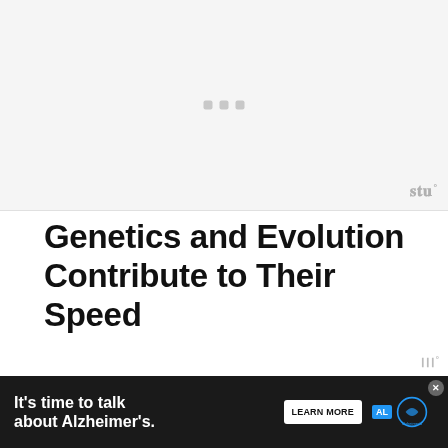[Figure (photo): Placeholder image area with three small gray squares centered, and a watermark logo in bottom-right corner]
Genetics and Evolution Contribute to Their Speed
So, how did this amazing creature end up so fierce, smart, and fast? Genetics and evolution. They're not that big. Standing on its hi... ght
[Figure (other): Advertisement bar: It's time to talk about Alzheimer's. LEARN MORE. Alzheimer's Association logo. Close button.]